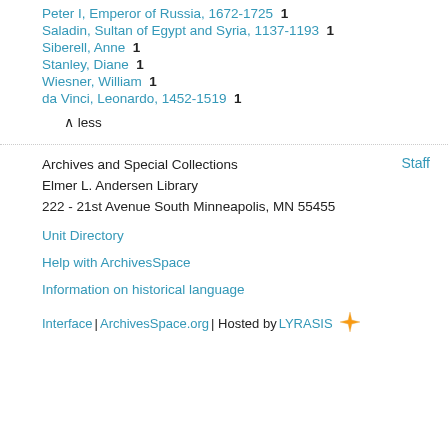Peter I, Emperor of Russia, 1672-1725  1
Saladin, Sultan of Egypt and Syria, 1137-1193  1
Siberell, Anne  1
Stanley, Diane  1
Wiesner, William  1
da Vinci, Leonardo, 1452-1519  1
∧ less
Staff
Archives and Special Collections
Elmer L. Andersen Library
222 - 21st Avenue South Minneapolis, MN 55455
Unit Directory
Help with ArchivesSpace
Information on historical language
Interface | ArchivesSpace.org | Hosted by LYRASIS